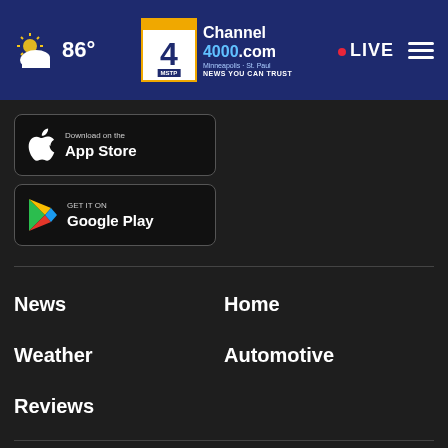86° | Channel 4000.com | Minneapolis · St. Paul | NEWS YOU CAN TRUST | LIVE
[Figure (screenshot): Download on the App Store button (black rounded rectangle with Apple logo)]
[Figure (screenshot): GET IT ON Google Play button (black rounded rectangle with Google Play logo)]
News
Home
Weather
Automotive
Reviews
About Us
Terms of Use